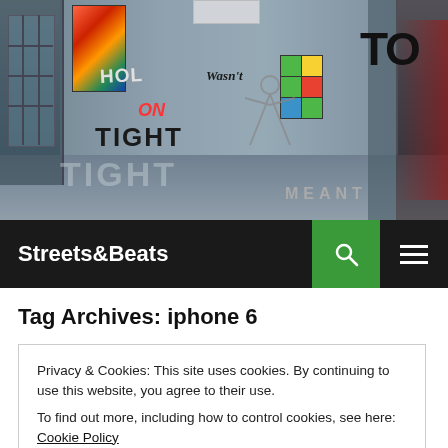[Figure (photo): Interior of a building with graffiti murals on the wall. Text visible includes 'HOLD ON TIGHT', 'Wasn't', 'FOREVER', 'TIGHT', 'MEANT', partial letters 'TO', 'LAST'. Colorful graffiti characters and a Rubik's cube figure. Abandoned warehouse or gallery space.]
Streets&Beats
Tag Archives: iphone 6
Privacy & Cookies: This site uses cookies. By continuing to use this website, you agree to their use.
To find out more, including how to control cookies, see here: Cookie Policy
Close and accept